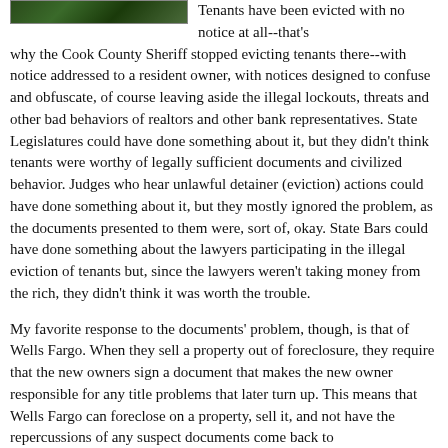[Figure (photo): Partial photograph of green foliage/plants, cropped at top of page]
Tenants have been evicted with no notice at all--that's why the Cook County Sheriff stopped evicting tenants there--with notice addressed to a resident owner, with notices designed to confuse and obfuscate, of course leaving aside the illegal lockouts, threats and other bad behaviors of realtors and other bank representatives. State Legislatures could have done something about it, but they didn't think tenants were worthy of legally sufficient documents and civilized behavior. Judges who hear unlawful detainer (eviction) actions could have done something about it, but they mostly ignored the problem, as the documents presented to them were, sort of, okay. State Bars could have done something about the lawyers participating in the illegal eviction of tenants but, since the lawyers weren't taking money from the rich, they didn't think it was worth the trouble.
My favorite response to the documents' problem, though, is that of Wells Fargo. When they sell a property out of foreclosure, they require that the new owners sign a document that makes the new owner responsible for any title problems that later turn up. This means that Wells Fargo can foreclose on a property, sell it, and not have the repercussions of any suspect documents come back to